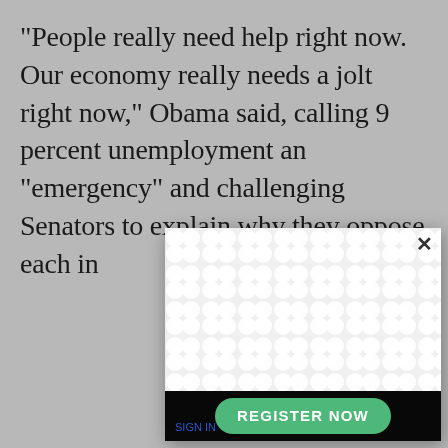“People really need help right now. Our economy really needs a jolt right now,” Obama said, calling 9 percent unemployment an “emergency” and challenging Senators to explain why they oppose each in
[Figure (screenshot): A modal popup dialog overlaying the article text. The modal contains a decorative pattern of interlocking circles/bubbles on a white background, a close (X) button in the top right, a dark/black footer bar, a green rounded 'REGISTER NOW' button, and small blue text in the bottom left corner.]